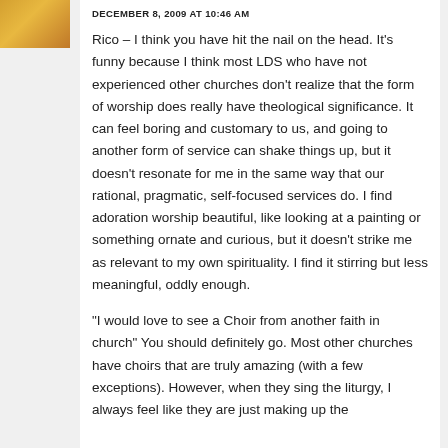[Figure (photo): Small avatar image, partial view, showing warm yellow/orange tones]
DECEMBER 8, 2009 AT 10:46 AM
Rico – I think you have hit the nail on the head. It's funny because I think most LDS who have not experienced other churches don't realize that the form of worship does really have theological significance. It can feel boring and customary to us, and going to another form of service can shake things up, but it doesn't resonate for me in the same way that our rational, pragmatic, self-focused services do. I find adoration worship beautiful, like looking at a painting or something ornate and curious, but it doesn't strike me as relevant to my own spirituality. I find it stirring but less meaningful, oddly enough.
"I would love to see a Choir from another faith in church" You should definitely go. Most other churches have choirs that are truly amazing (with a few exceptions). However, when they sing the liturgy, I always feel like they are just making up the